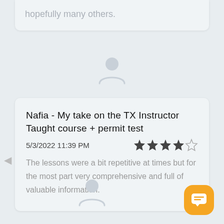hopefully many others.
[Figure (illustration): Grey person/user silhouette avatar icon, centered on background]
Nafia - My take on the TX Instructor Taught course + permit test
5/3/2022 11:39 PM
[Figure (other): 4 out of 5 stars rating (4 filled stars, 1 empty star)]
The lessons were a bit repetitive at times but for the most part very comprehensive and full of valuable information.
[Figure (illustration): Grey person/user silhouette avatar icon, centered below review card]
[Figure (other): Orange rounded square chat/message button in bottom right corner]